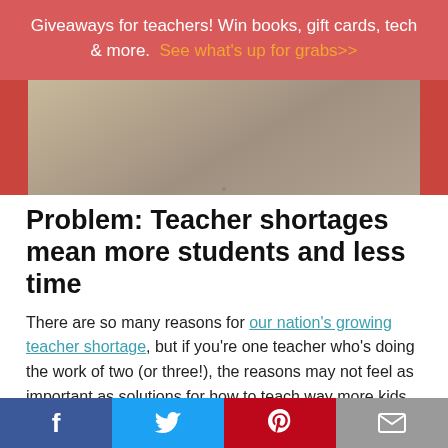Giveaways for teachers! Win books, gift cards, tech & more. See what's up for grabs>>
[Figure (photo): Cropped photo of a classroom or school environment with red clothing visible on the sides and a blurred background]
Problem: Teacher shortages mean more students and less time
There are so many reasons for our nation's growing teacher shortage, but if you're one teacher who's doing the work of two (or three!), the reasons may not feel as important as solutions for how to teach way more kids than one person normally can.
f  [Twitter bird]  P  [email icon]